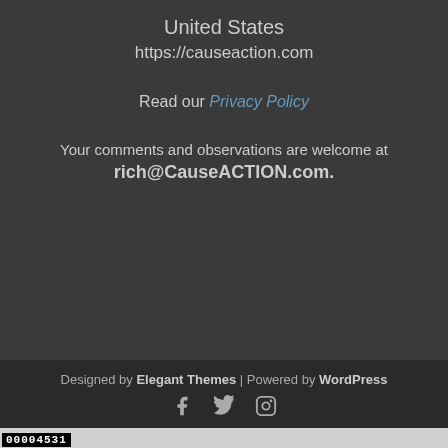United States
https://causeaction.com
Read our Privacy Policy
Your comments and observations are welcome at rich@CauseACTION.com.
Designed by Elegant Themes | Powered by WordPress
[Figure (other): Social media icons: Facebook, Twitter, Instagram]
00004531